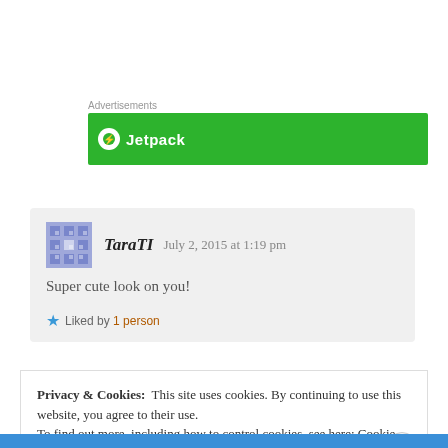Advertisements
[Figure (screenshot): Green Jetpack advertisement banner]
TaraTI   July 2, 2015 at 1:19 pm
Super cute look on you!
Liked by 1 person
Privacy & Cookies: This site uses cookies. By continuing to use this website, you agree to their use. To find out more, including how to control cookies, see here: Cookie Policy